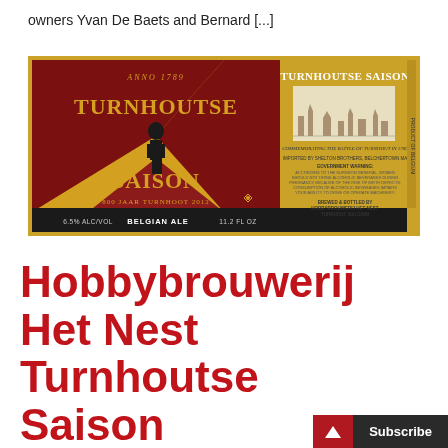owners Yvan De Baets and Bernard [...]
[Figure (photo): Beer bottle label for Turnhoutse Saison by Hobbybrouwerij Het Nest. Left side shows a red and gold diagonal cross design with a soldier figure, text 'Anno 1789 Turnhoutse Saison 800 jaar Turnhout 2012'. Right side shows 'Turnhoutse Saison' title with an engraving of Turnhout city, import information from Shelton Brothers, government warning, and brewed by Hobbybrouwerij Het Nest Turnhout Belgium. Bottom bar reads '6.5% Alc/Vol Belgian Ale 11.2 Fl Oz'.]
Hobbybrouwerij Het Nest Turnhoutse Saison (Turnhoutse Patriot)